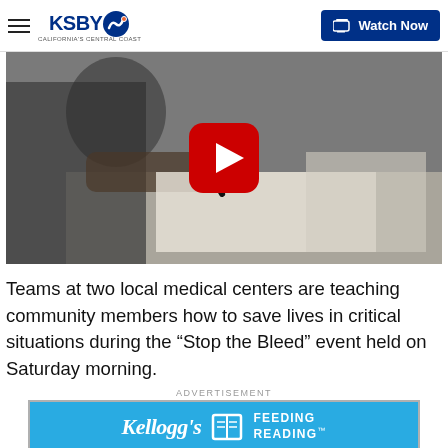KSBY California's Central Coast — Watch Now
[Figure (screenshot): Video thumbnail showing a person writing on paper at a desk, with a red YouTube play button overlay in the center.]
Teams at two local medical centers are teaching community members how to save lives in critical situations during the “Stop the Bleed” event held on Saturday morning.
ADVERTISEMENT
[Figure (photo): Kellogg's Feeding Reading advertisement banner with blue background showing Kellogg's logo, book icon, and text FEEDING READING.]